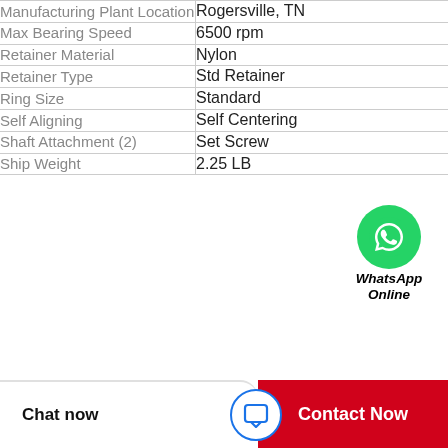| Property | Value |
| --- | --- |
| Manufacturing Plant Location | Rogersville, TN |
| Max Bearing Speed | 6500 rpm |
| Retainer Material | Nylon |
| Retainer Type | Std Retainer |
| Ring Size | Standard |
| Self Aligning | Self Centering |
| Shaft Attachment (2) | Set Screw |
| Ship Weight | 2.25 LB |
[Figure (logo): WhatsApp Online button with green circle phone icon and italic bold text 'WhatsApp Online']
Chat now
Contact Now